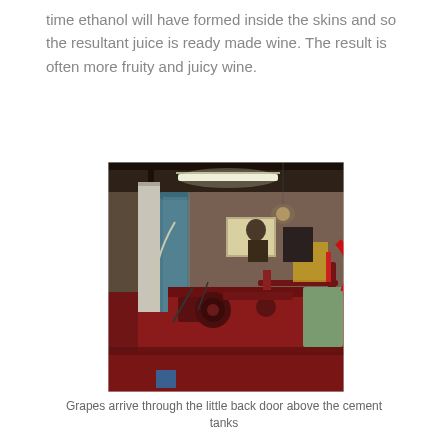time ethanol will have formed inside the skins and so the resultant juice is ready made wine. The result is often more fruity and juicy wine.
[Figure (photo): Interior of a winery showing industrial machinery including a red metal press/crusher machine, a blue cylindrical tank, fluorescent lighting, a hanging light bulb, brick walls, and a person visible in the background.]
Grapes arrive through the little back door above the cement tanks